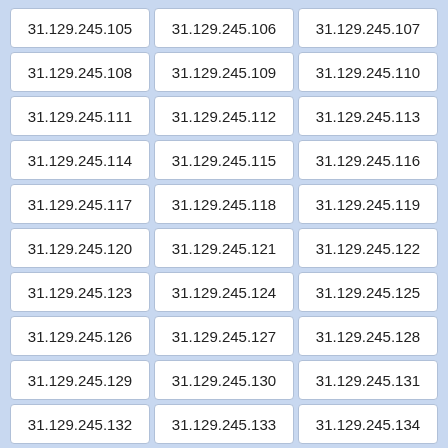| 31.129.245.105 | 31.129.245.106 | 31.129.245.107 |
| 31.129.245.108 | 31.129.245.109 | 31.129.245.110 |
| 31.129.245.111 | 31.129.245.112 | 31.129.245.113 |
| 31.129.245.114 | 31.129.245.115 | 31.129.245.116 |
| 31.129.245.117 | 31.129.245.118 | 31.129.245.119 |
| 31.129.245.120 | 31.129.245.121 | 31.129.245.122 |
| 31.129.245.123 | 31.129.245.124 | 31.129.245.125 |
| 31.129.245.126 | 31.129.245.127 | 31.129.245.128 |
| 31.129.245.129 | 31.129.245.130 | 31.129.245.131 |
| 31.129.245.132 | 31.129.245.133 | 31.129.245.134 |
| 31.129.245.135 | 31.129.245.136 | 31.129.245.137 |
| 31.129.245.138 | 31.129.245.139 | 31.129.245.140 |
| 31.129.245.141 | 31.129.245.142 | 31.129.245.143 |